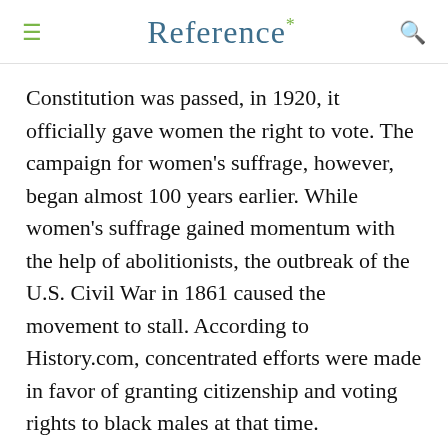Reference*
Constitution was passed, in 1920, it officially gave women the right to vote. The campaign for women’s suffrage, however, began almost 100 years earlier. While women’s suffrage gained momentum with the help of abolitionists, the outbreak of the U.S. Civil War in 1861 caused the movement to stall. According to History.com, concentrated efforts were made in favor of granting citizenship and voting rights to black males at that time.
History.com states that in 1890, the National American Woman’s Suffrage Association was formed with Elizabeth Cady Stanton as its first president.